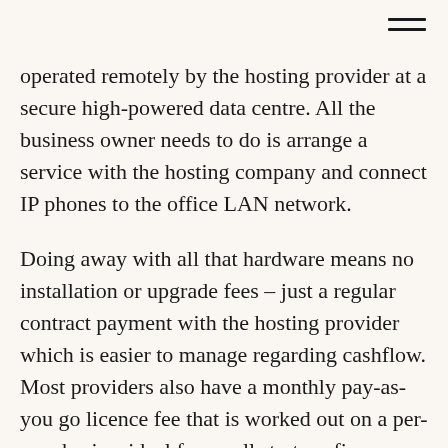operated remotely by the hosting provider at a secure high-powered data centre. All the business owner needs to do is arrange a service with the hosting company and connect IP phones to the office LAN network.
Doing away with all that hardware means no installation or upgrade fees – just a regular contract payment with the hosting provider which is easier to manage regarding cashflow. Most providers also have a monthly pay-as-you go licence fee that is worked out on a per-user basis – ideal for small start-up firms. What's more, any upgrades to the telephony system are